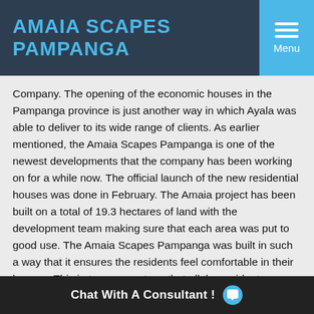AMAIA SCAPES PAMPANGA
Company. The opening of the economic houses in the Pampanga province is just another way in which Ayala was able to deliver to its wide range of clients. As earlier mentioned, the Amaia Scapes Pampanga is one of the newest developments that the company has been working on for a while now. The official launch of the new residential houses was done in February. The Amaia project has been built on a total of 19.3 hectares of land with the development team making sure that each area was put to good use. The Amaia Scapes Pampanga was built in such a way that it ensures the residents feel comfortable in their houses. This in turn guarantees that all the residents occupying the homes live a balanced and comfortable lifestyle.
When it comes to the designs of these residential houses, there are a total of around 1,400 homes as well as lot units for individuals who are only into residential living.